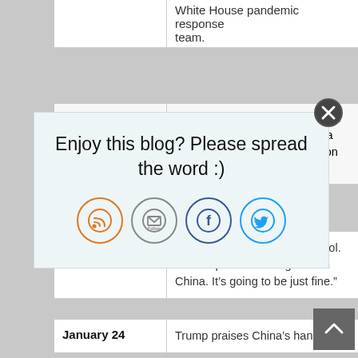| Date | Event |
| --- | --- |
|  | White House pandemic response team. |
|  | the federal government to use in response to a severe influenza pandemic." [Crimson Contagion exercise findings] |
| January 22 | “We have it totally under control. It’s one person coming in from China. It’s going to be just fine.” |
| January 24 | Trump praises China’s handling |
[Figure (infographic): Blog share popup overlay with text 'Enjoy this blog? Please spread the word :)' and four social media icon buttons: RSS (orange), Email/Follow (gray), Facebook (blue), Twitter (light blue). Has a close button (X) in the top right corner.]